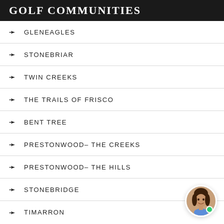GOLF COMMUNITIES
GLENEAGLES
STONEBRIAR
TWIN CREEKS
THE TRAILS OF FRISCO
BENT TREE
PRESTONWOOD– THE CREEKS
PRESTONWOOD– THE HILLS
STONEBRIDGE
TIMARRON
[Figure (photo): Chat avatar showing a woman with dark hair, with a green online indicator dot]